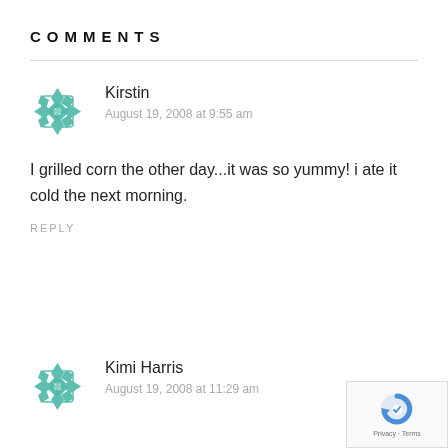COMMENTS
[Figure (illustration): Teal geometric flower/mandala avatar icon for user Kirstin]
Kirstin
August 19, 2008 at 9:55 am
I grilled corn the other day...it was so yummy! i ate it cold the next morning.
REPLY
[Figure (illustration): Teal geometric flower/mandala avatar icon for user Kimi Harris]
Kimi Harris
August 19, 2008 at 11:29 am
[Figure (logo): reCAPTCHA badge with Privacy + Terms text]